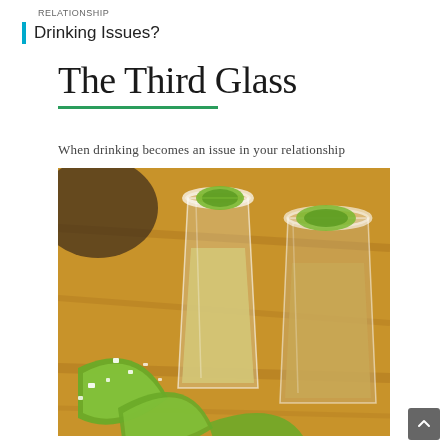RELATIONSHIP
Drinking Issues?
The Third Glass
When drinking becomes an issue in your relationship
[Figure (photo): Close-up photo of three shot glasses filled with tequila or margarita liquid, rimmed with coarse salt and garnished with lime wedges, sitting on a wooden surface. Salt crystals are scattered around the glasses.]